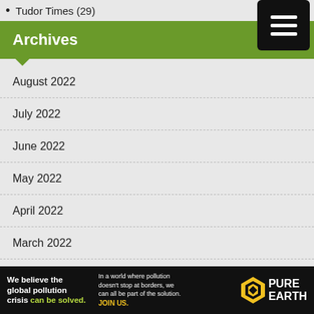Tudor Times (29)
Archives
August 2022
July 2022
June 2022
May 2022
April 2022
March 2022
February 2022
January 2022
December 2021
November 2021
[Figure (infographic): Pure Earth advertisement banner: 'We believe the global pollution crisis can be solved. In a world where pollution doesn't stop at borders, we can all be part of the solution. JOIN US.' with Pure Earth logo.]